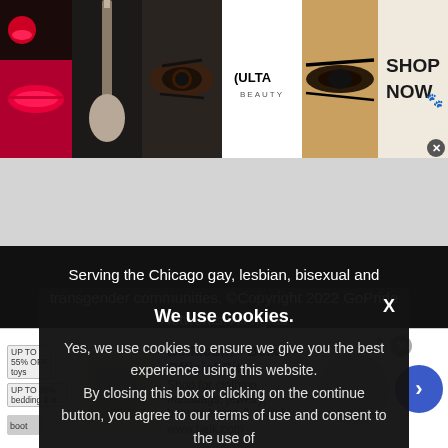[Figure (screenshot): Ulta Beauty banner advertisement showing makeup images (lips, brush, eye) and Ulta Beauty logo with 'SHOP NOW' call to action]
[Figure (screenshot): Grey blank content area in the middle of the page]
Serving the Chicago gay, lesbian, bisexual and transgender communities. ©Copyright 2022 GoPride Networks. All rights reserved.
GoPride.com™ Know Chicago. Chicago Everyday™ Lo...
We use cookies.
Yes, we use cookies to ensure we give you the best experience using this website.
By closing this box or clicking on the continue button, you agree to our terms of use and consent to the use of
[Figure (screenshot): Belk.com advertisement showing 'Belk.com - Belk® - Official Site', 'Shop for clothing, handbags, jewelry, beauty, home & more!', www.belk.com, with thumbnail and circular arrow button]